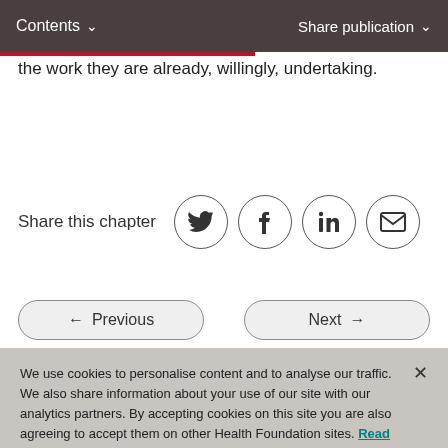Contents   Share publication
the work they are already, willingly, undertaking.
Share this chapter
← Previous   Next →
We use cookies to personalise content and to analyse our traffic. We also share information about your use of our site with our analytics partners. By accepting cookies on this site you are also agreeing to accept them on other Health Foundation sites. Read our Privacy Policy
Cookies Settings   Accept All Cookies